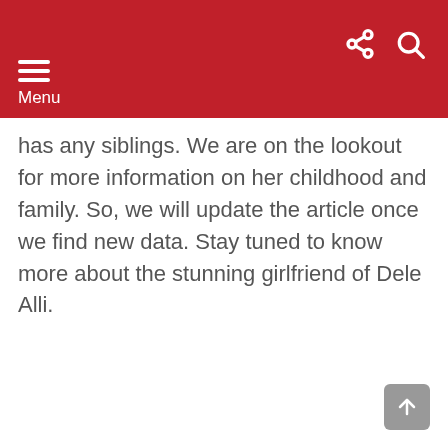Menu
has any siblings. We are on the lookout for more information on her childhood and family. So, we will update the article once we find new data. Stay tuned to know more about the stunning girlfriend of Dele Alli.